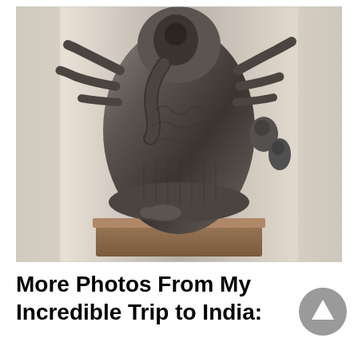[Figure (photo): A dark stone sculpture of a multi-armed Hindu deity (likely Ganesha or a multi-form deity) with intricate carvings of smaller figures around it, displayed on a brown pedestal against a light beige/cream background. The sculpture is heavily detailed with relief carvings.]
More Photos From My Incredible Trip to India: